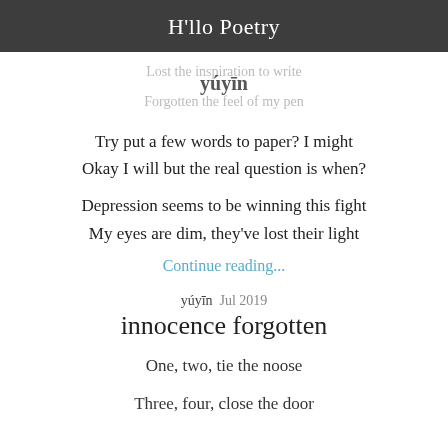H'llo Poetry
Lost the inspiration to write
yúyīn
Forgotten the feel of my pen
Try put a few words to paper? I might
Okay I will but the real question is when?
Depression seems to be winning this fight
My eyes are dim, they've lost their light
Continue reading...
yúyīn  Jul 2019
innocence forgotten
One, two, tie the noose
Three, four, close the door